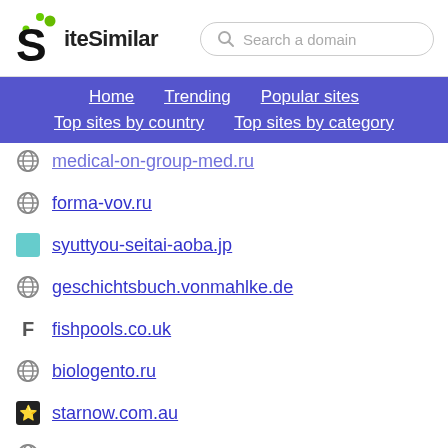SiteSimilar — Search a domain
SiteSimilar
Home
Trending
Popular sites
Top sites by country
Top sites by category
medical-on-group-med.ru
forma-vov.ru
syuttyou-seitai-aoba.jp
geschichtsbuch.vonmahlke.de
fishpools.co.uk
biologento.ru
starnow.com.au
prendea.com
naturheilpraxis-ascherfeld.de
timme.me (partial)